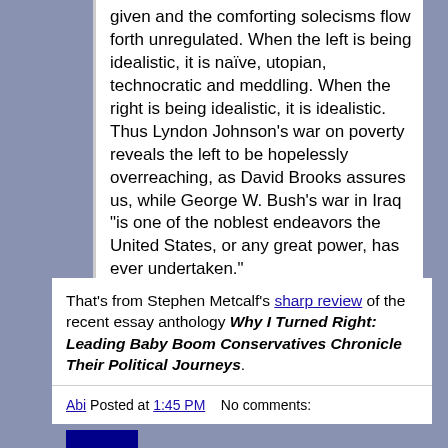given and the comforting solecisms flow forth unregulated. When the left is being idealistic, it is naïve, utopian, technocratic and meddling. When the right is being idealistic, it is idealistic. Thus Lyndon Johnson's war on poverty reveals the left to be hopelessly overreaching, as David Brooks assures us, while George W. Bush's war in Iraq "is one of the noblest endeavors the United States, or any great power, has ever undertaken."
That's from Stephen Metcalf's sharp review of the recent essay anthology Why I Turned Right: Leading Baby Boom Conservatives Chronicle Their Political Journeys.
Abi Posted at 1:45 PM   No comments: